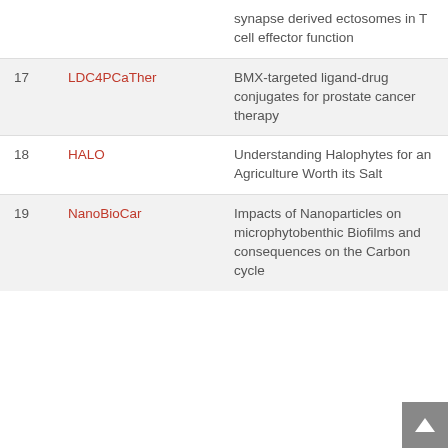| # | Code | Title | Year |
| --- | --- | --- | --- |
|  |  | synapse derived ectosomes in T cell effector function |  |
| 17 | LDC4PCaTher | BMX-targeted ligand-drug conjugates for prostate cancer therapy | 2016 |
| 18 | HALO | Understanding Halophytes for an Agriculture Worth its Salt | 2016 |
| 19 | NanoBioCar | Impacts of Nanoparticles on microphytobenthic Biofilms and consequences on the Carbon cycle | 2016 |